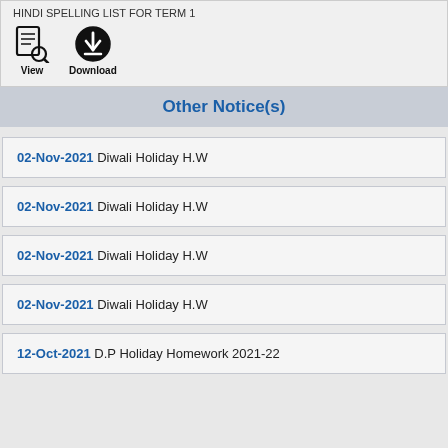HINDI SPELLING LIST FOR TERM 1
[Figure (illustration): View icon (document with magnifying glass) and Download icon (circle with down arrow), labeled 'View' and 'Download']
Other Notice(s)
02-Nov-2021 Diwali Holiday H.W
02-Nov-2021 Diwali Holiday H.W
02-Nov-2021 Diwali Holiday H.W
02-Nov-2021 Diwali Holiday H.W
12-Oct-2021 D.P Holiday Homework 2021-22